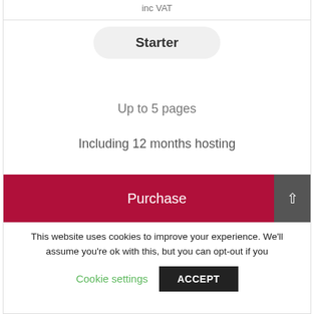inc VAT
Starter
Up to 5 pages
Including 12 months hosting
Purchase
This website uses cookies to improve your experience. We'll assume you're ok with this, but you can opt-out if you
Cookie settings
ACCEPT